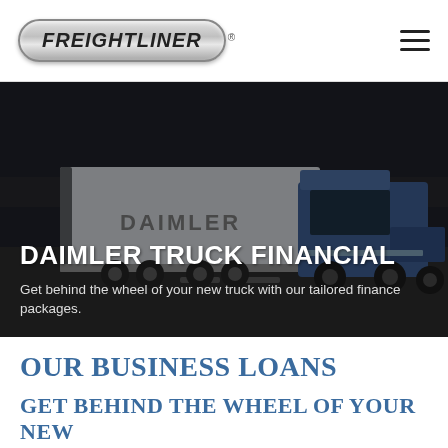[Figure (logo): Freightliner logo badge — silver oval badge with italic bold text FREIGHTLINER and registered trademark symbol]
[Figure (photo): Dark hero image of a blue and white Freightliner/Daimler semi truck with trailer on highway, dark overlay]
DAIMLER TRUCK FINANCIAL
Get behind the wheel of your new truck with our tailored finance packages.
OUR BUSINESS LOANS
GET BEHIND THE WHEEL OF YOUR NEW